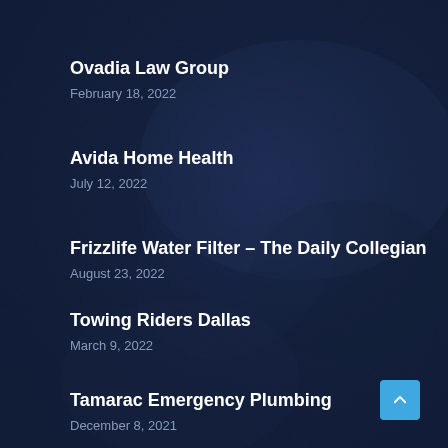Ovadia Law Group
February 18, 2022
Avida Home Health
July 12, 2022
Frizzlife Water Filter – The Daily Collegian
August 23, 2022
Towing Riders Dallas
March 9, 2022
Tamarac Emergency Plumbing
December 8, 2021